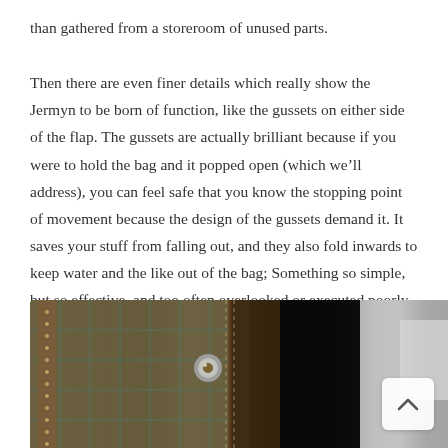than gathered from a storeroom of unused parts.
Then there are even finer details which really show the Jermyn to be born of function, like the gussets on either side of the flap. The gussets are actually brilliant because if you were to hold the bag and it popped open (which we'll address), you can feel safe that you know the stopping point of movement because the design of the gussets demand it. It saves your stuff from falling out, and they also fold inwards to keep water and the like out of the bag; Something so simple, but so effective, and too often overlooked or executed poorly. Similarly, is the fact the insert can be fastened to the bag itself which really helps with keeping it feeling in place.
[Figure (photo): Close-up photograph of a bag detail showing stitching on tweed/fabric material with a metal rivet/stud, brown leather trim, and dark background with blurred grey area on the right side.]